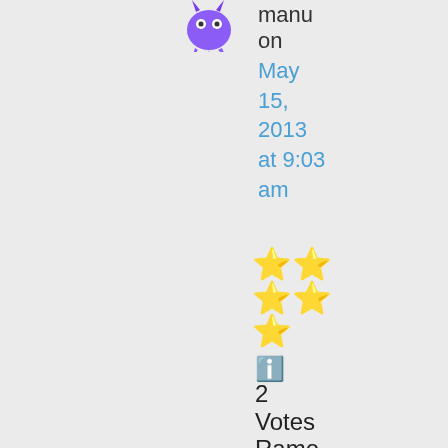[Figure (illustration): Purple monster/alien avatar icon]
manu on May 15, 2013 at 9:03 am
[Figure (other): 5 gold/yellow stars rating display]
ℹ️ 2 Votes
Ramesh I can't accept or